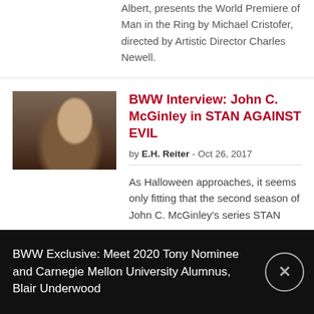Albert, presents the World Premiere of Man in the Ring by Michael Cristofer, directed by Artistic Director Charles Newell.
[Figure (photo): Photo of John C. McGinley, a middle-aged man with glasses, in a dark scene]
BWW Interview: John C. McGinley in STAN AGAINST EVIL
by E.H. Reiter - Oct 26, 2017
As Halloween approaches, it seems only fitting that the second season of John C. McGinley's series STAN...
BWW Exclusive: Meet 2020 Tony Nominee and Carnegie Mellon University Alumnus, Blair Underwood